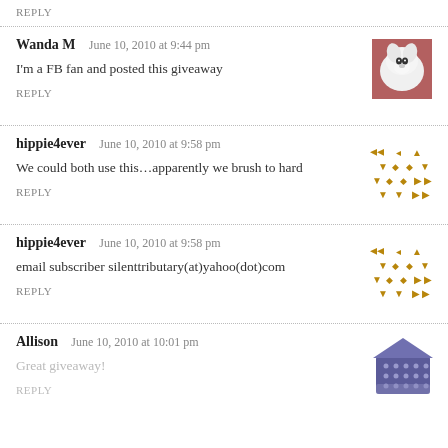REPLY
Wanda M   June 10, 2010 at 9:44 pm
I'm a FB fan and posted this giveaway
REPLY
[Figure (photo): Avatar image of a white dog]
hippie4ever   June 10, 2010 at 9:58 pm
We could both use this…apparently we brush to hard
REPLY
[Figure (illustration): Arrow pattern avatar for hippie4ever]
hippie4ever   June 10, 2010 at 9:58 pm
email subscriber silenttributary(at)yahoo(dot)com
REPLY
[Figure (illustration): Arrow pattern avatar for hippie4ever]
Allison   June 10, 2010 at 10:01 pm
Great giveaway!
REPLY